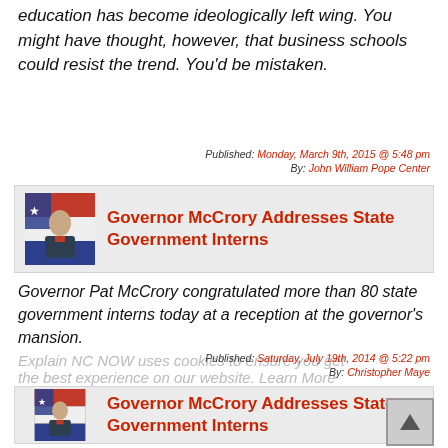education has become ideologically left wing. You might have thought, however, that business schools could resist the trend. You'd be mistaken.
Published: Monday, March 9th, 2015 @ 5:48 pm
By: John William Pope Center
[Figure (photo): Photo of Governor McCrory with American and state flag in background]
Governor McCrory Addresses State Government Interns
Governor Pat McCrory congratulated more than 80 state government interns today at a reception at the governor's mansion.
Published: Saturday, July 19th, 2014 @ 5:22 pm
By: Christopher Maye
[Figure (photo): Photo of Governor McCrory with American and state flag in background]
Governor McCrory Addresses State Government Interns